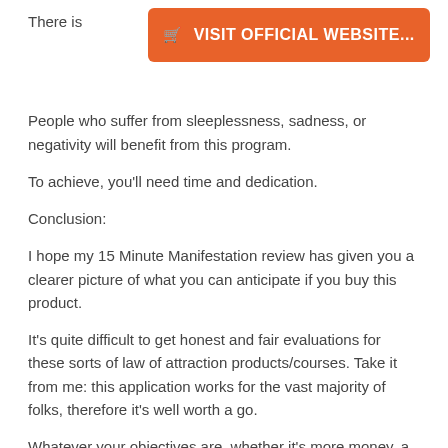There is
[Figure (other): Orange button banner: VISIT OFFICIAL WEBSITE...]
People who suffer from sleeplessness, sadness, or negativity will benefit from this program.
To achieve, you'll need time and dedication.
Conclusion:
I hope my 15 Minute Manifestation review has given you a clearer picture of what you can anticipate if you buy this product.
It's quite difficult to get honest and fair evaluations for these sorts of law of attraction products/courses. Take it from me: this application works for the vast majority of folks, therefore it's well worth a go.
Whatever your objectives are, whether it's more money, a better personal life, getting in shape, or having greater security (especially given the current situation of the world), you'll be able to attain them far more quickly and simply if you use this method to lay a solid foundation.